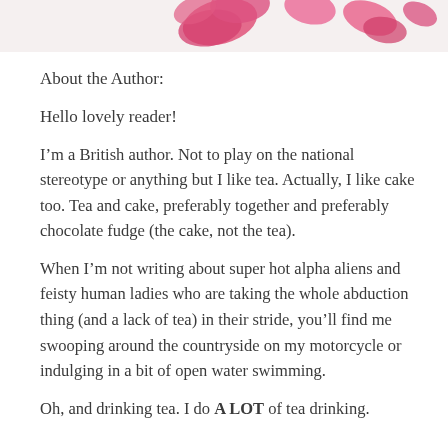[Figure (photo): Partial view of pink rose petals on a white background, cropped at the top of the page.]
About the Author:
Hello lovely reader!
I'm a British author. Not to play on the national stereotype or anything but I like tea. Actually, I like cake too. Tea and cake, preferably together and preferably chocolate fudge (the cake, not the tea).
When I'm not writing about super hot alpha aliens and feisty human ladies who are taking the whole abduction thing (and a lack of tea) in their stride, you'll find me swooping around the countryside on my motorcycle or indulging in a bit of open water swimming.
Oh, and drinking tea. I do A LOT of tea drinking.